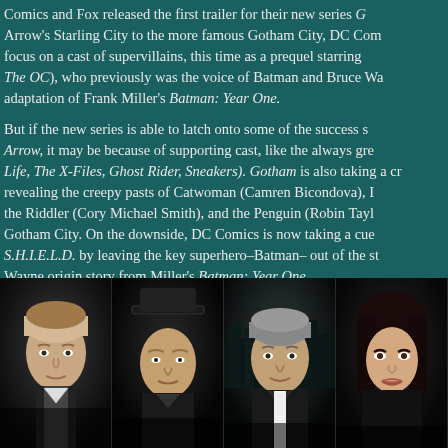Comics and Fox released the first trailer for their new series G... Arrow's Starling City to the more famous Gotham City, DC Com... focus on a cast of supervillains, this time as a prequel starring... The OC), who previously was the voice of Batman and Bruce Wa... adaptation of Frank Miller's Batman: Year One.

But if the new series is able to latch onto some of the success s... Arrow, it may be because of supporting cast, like the always gre... Life, The X-Files, Ghost Rider, Sneakers). Gotham is also taking a cr... revealing the creepy pasts of Catwoman (Camren Bicondova), I... the Riddler (Cory Michael Smith), and the Penguin (Robin Tayl... Gotham City. On the downside, DC Comics is now taking a cue... S.H.I.E.L.D. by leaving the key superhero–Batman– out of the st... Wayne origin story from Miller's Batman: Year One.
[Figure (photo): Four actors in dark cinematic portraits from the TV show Gotham, showing characters in moody low-light settings]